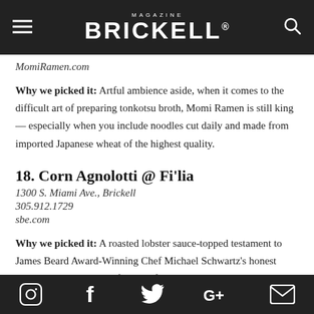MAGAZINE BRICKELL
MomiRamen.com
Why we picked it: Artful ambience aside, when it comes to the difficult art of preparing tonkotsu broth, Momi Ramen is still king — especially when you include noodles cut daily and made from imported Japanese wheat of the highest quality.
18. Corn Agnolotti @ Fi'lia
1300 S. Miami Ave., Brickell
305.912.1729
sbe.com
Why we picked it: A roasted lobster sauce-topped testament to James Beard Award-Winning Chef Michael Schwartz's honest Italian roots, each bite of this perfectly
Social icons: Instagram, Facebook, Twitter, Google+, Email